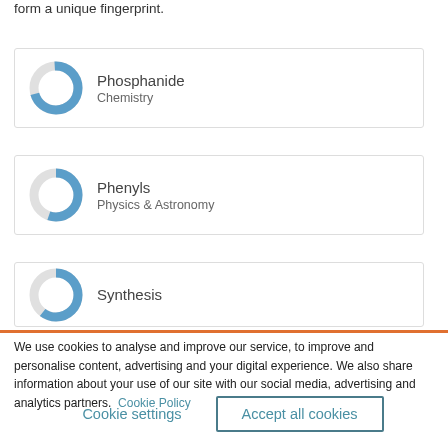form a unique fingerprint.
[Figure (donut-chart): Donut chart showing approximately 70% fill in blue for Phosphanide, Chemistry]
Phosphanide
Chemistry
[Figure (donut-chart): Donut chart showing approximately 55% fill in blue for Phenyls, Physics & Astronomy]
Phenyls
Physics & Astronomy
[Figure (donut-chart): Donut chart showing approximately 60% fill in blue for Synthesis]
Synthesis
We use cookies to analyse and improve our service, to improve and personalise content, advertising and your digital experience. We also share information about your use of our site with our social media, advertising and analytics partners.  Cookie Policy
Cookie settings
Accept all cookies